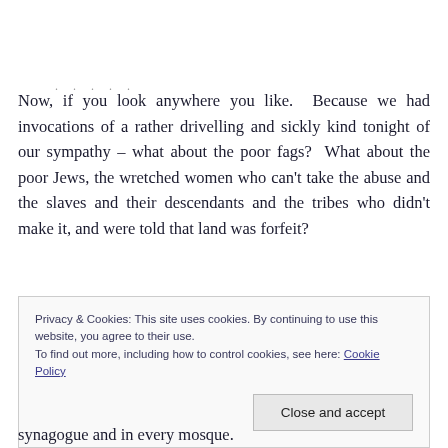Now, if you look anywhere you like.  Because we had invocations of a rather drivelling and sickly kind tonight of our sympathy – what about the poor fags?  What about the poor Jews, the wretched women who can't take the abuse and the slaves and their descendants and the tribes who didn't make it, and were told that land was forfeit?
Privacy & Cookies: This site uses cookies. By continuing to use this website, you agree to their use.
To find out more, including how to control cookies, see here: Cookie Policy
synagogue and in every mosque.